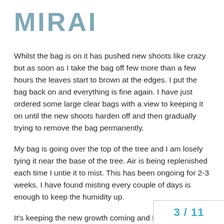MIRAI
Whilst the bag is on it has pushed new shoots like crazy but as soon as I take the bag off few more than a few hours the leaves start to brown at the edges. I put the bag back on and everything is fine again. I have just ordered some large clear bags with a view to keeping it on until the new shoots harden off and then gradually trying to remove the bag permanently.
My bag is going over the top of the tree and I am losely tying it near the base of the tree. Air is being replenished each time I untie it to mist. This has been ongoing for 2-3 weeks. I have found misting every couple of days is enough to keep the humidity up.
It's keeping the new growth coming and I'm not sure what the end point is going to b
3 / 11